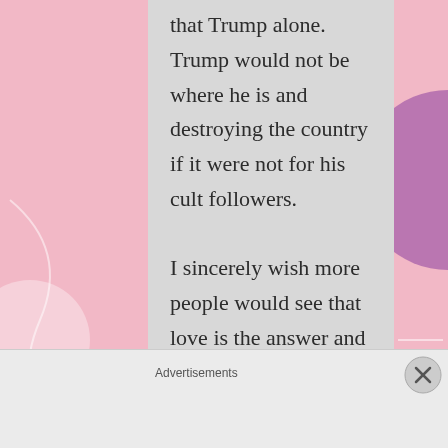that Trump alone. Trump would not be where he is and destroying the country if it were not for his cult followers.

I sincerely wish more people would see that love is the answer and does conquer all. We need a lot less hate and
Advertisements